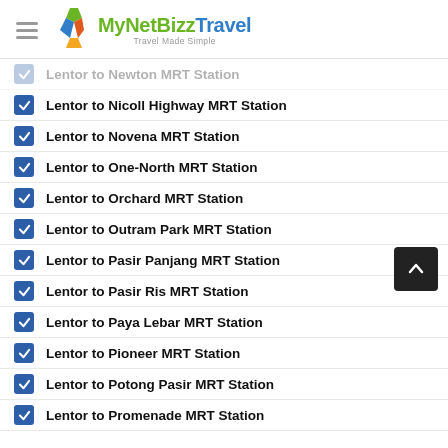MyNetBizz Travel — Travel Made Simple
Lentor to Newton MRT Station
Lentor to Nicoll Highway MRT Station
Lentor to Novena MRT Station
Lentor to One-North MRT Station
Lentor to Orchard MRT Station
Lentor to Outram Park MRT Station
Lentor to Pasir Panjang MRT Station
Lentor to Pasir Ris MRT Station
Lentor to Paya Lebar MRT Station
Lentor to Pioneer MRT Station
Lentor to Potong Pasir MRT Station
Lentor to Promenade MRT Station